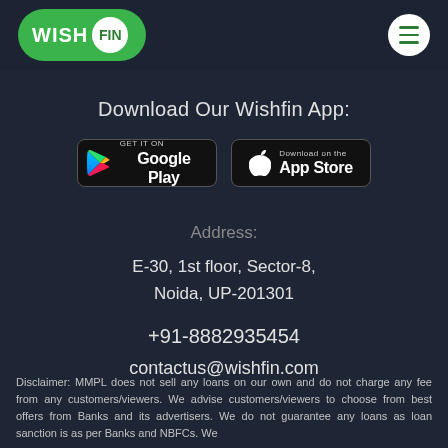[Figure (logo): WishFin logo: green pill-shaped button with WISH text and FIN in white circle]
[Figure (other): Hamburger menu icon in white circle]
Download Our Wishfin App:
[Figure (other): Google Play store badge - GET IT ON Google Play]
[Figure (other): Apple App Store badge - Download on the App Store]
Address:
E-30, 1st floor, Sector-8, Noida, UP-201301
+91-8882935454
contactus@wishfin.com
Disclaimer: MMPL does not sell any loans on our own and do not charge any fee from any customers/viewers. We advise customers/viewers to choose from best offers from Banks and its advertisers. We do not guarantee any loans as loan sanction is as per Banks and NBFCs. We